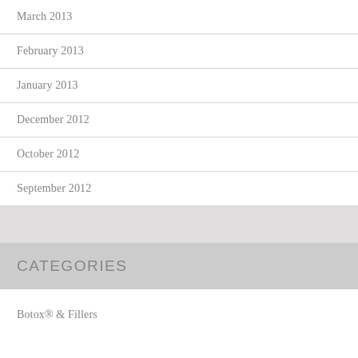March 2013
February 2013
January 2013
December 2012
October 2012
September 2012
CATEGORIES
Botox® & Fillers